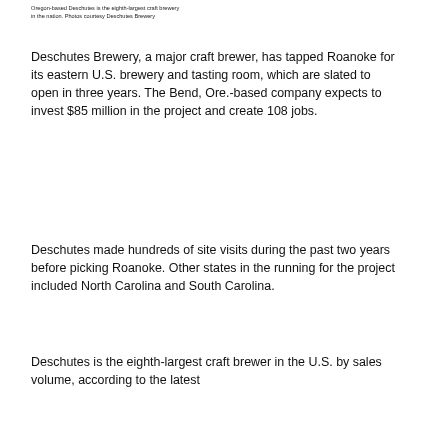Oregon-based Deschutes is the eighth-largest craft brewery in the nation. Photos courtesy Deschutes Brewery
Deschutes Brewery, a major craft brewer, has tapped Roanoke for its eastern U.S. brewery and tasting room, which are slated to open in three years. The Bend, Ore.-based company expects to invest $85 million in the project and create 108 jobs.
Deschutes made hundreds of site visits during the past two years before picking Roanoke. Other states in the running for the project included North Carolina and South Carolina.
Deschutes is the eighth-largest craft brewer in the U.S. by sales volume, according to the latest